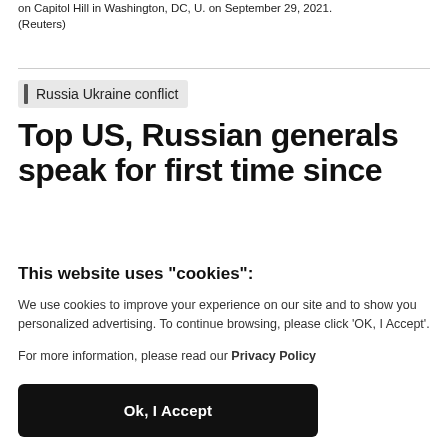on Capitol Hill in Washington, DC, U. on September 29, 2021. (Reuters)
Russia Ukraine conflict
Top US, Russian generals speak for first time since
This website uses "cookies":
We use cookies to improve your experience on our site and to show you personalized advertising. To continue browsing, please click 'OK, I Accept'.
For more information, please read our Privacy Policy
Ok, I Accept